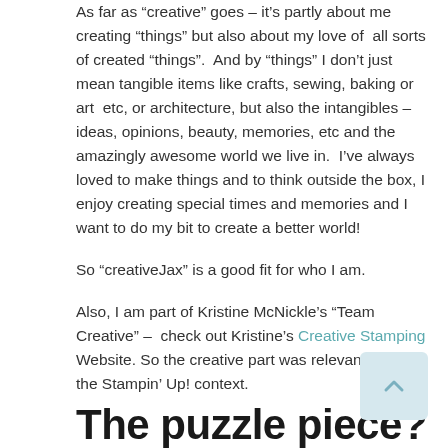As far as "creative" goes – it's partly about me creating "things" but also about my love of all sorts of created "things". And by "things" I don't just mean tangible items like crafts, sewing, baking or art etc, or architecture, but also the intangibles – ideas, opinions, beauty, memories, etc and the amazingly awesome world we live in. I've always loved to make things and to think outside the box, I enjoy creating special times and memories and I want to do my bit to create a better world!
So "creativeJax" is a good fit for who I am.
Also, I am part of Kristine McNickle's "Team Creative" – check out Kristine's Creative Stamping Website. So the creative part was relevant within the Stampin' Up! context.
The puzzle piece?